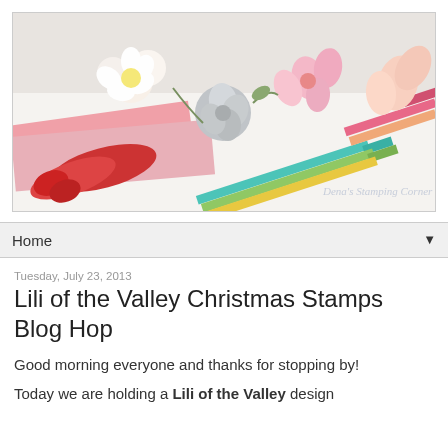[Figure (photo): Banner photo showing craft supplies: red scissors, colored pencils in pink, yellow, green, and teal; paper flowers in white, gray, and pink on a light background. Script watermark reads 'Dena's Stamping Corner'.]
Home ▼
Tuesday, July 23, 2013
Lili of the Valley Christmas Stamps Blog Hop
Good morning everyone and thanks for stopping by!
Today we are holding a Lili of the Valley design